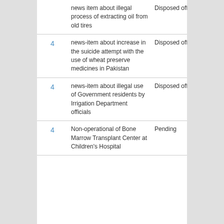|  | Description | Status |
| --- | --- | --- |
|  | news item about illegal process of extracting oil from old tires | Disposed off |
| 4 | news-item about increase in the suicide attempt with the use of wheat preserve medicines in Pakistan | Disposed off |
| 4 | news-item about illegal use of Government residents by Irrigation Department officials | Disposed off |
| 4 | Non-operational of Bone Marrow Transplant Center at Children's Hospital | Pending |